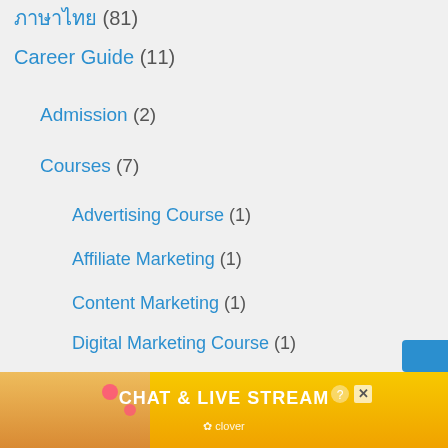ภาษาไทย (81)
Career Guide (11)
Admission (2)
Courses (7)
Advertising Course (1)
Affiliate Marketing (1)
Content Marketing (1)
Digital Marketing Course (1)
Email Marketing (1)
Social Media Marketing (1)
Web Design (1)
[Figure (infographic): Advertisement banner for CHAT & LIVE STREAM by Clover, showing a woman on a beach with heart emoji decorations, orange/yellow background.]